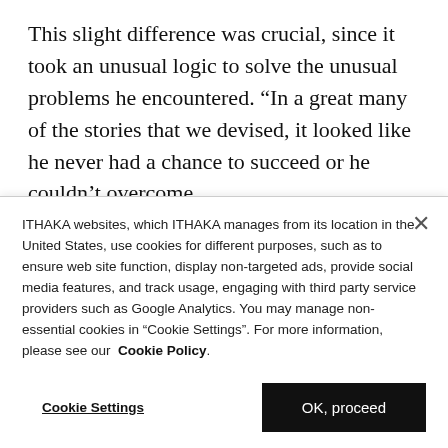This slight difference was crucial, since it took an unusual logic to solve the unusual problems he encountered. “In a great many of the stories that we devised, it looked like he never had a chance to succeed or he couldn’t overcome
ITHAKA websites, which ITHAKA manages from its location in the United States, use cookies for different purposes, such as to ensure web site function, display non-targeted ads, provide social media features, and track usage, engaging with third party service providers such as Google Analytics. You may manage non-essential cookies in “Cookie Settings”. For more information, please see our Cookie Policy.